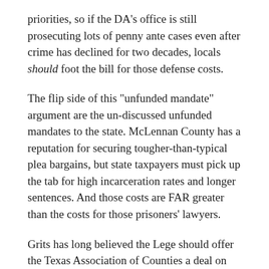priorities, so if the DA's office is still prosecuting lots of penny ante cases even after crime has declined for two decades, locals should foot the bill for those defense costs.
The flip side of this "unfunded mandate" argument are the un-discussed unfunded mandates to the state. McLennan County has a reputation for securing tougher-than-typical plea bargains, but state taxpayers must pick up the tab for high incarceration rates and longer sentences. And those costs are FAR greater than the costs for those prisoners' lawyers.
Grits has long believed the Lege should offer the Texas Association of Counties a deal on indigent defense: The state picks up the full indigent defense tab, and counties pay to incarcerate every defendant they send to TDCJ for the whole time they're inside. Then everything would be "fair."